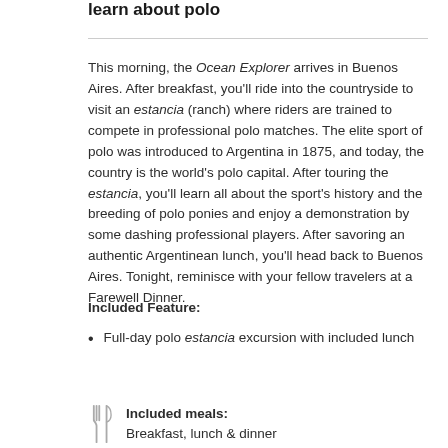learn about polo
This morning, the Ocean Explorer arrives in Buenos Aires. After breakfast, you'll ride into the countryside to visit an estancia (ranch) where riders are trained to compete in professional polo matches. The elite sport of polo was introduced to Argentina in 1875, and today, the country is the world's polo capital. After touring the estancia, you'll learn all about the sport's history and the breeding of polo ponies and enjoy a demonstration by some dashing professional players. After savoring an authentic Argentinean lunch, you'll head back to Buenos Aires. Tonight, reminisce with your fellow travelers at a Farewell Dinner.
Included Feature:
Full-day polo estancia excursion with included lunch
Included meals: Breakfast, lunch & dinner